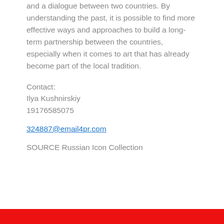and a dialogue between two countries. By understanding the past, it is possible to find more effective ways and approaches to build a long-term partnership between the countries, especially when it comes to art that has already become part of the local tradition.
Contact:
Ilya Kushnirskiy
19176585075
324887@email4pr.com
SOURCE Russian Icon Collection